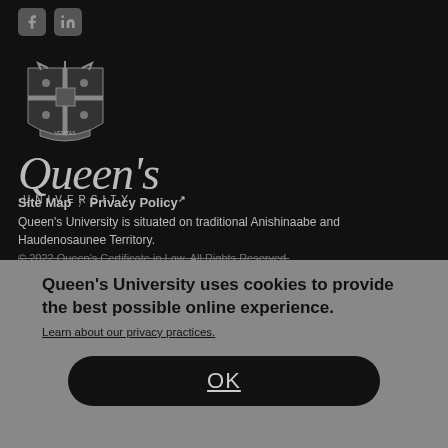[Figure (logo): Queen's University crest/shield logo with cross pattern and decorative elements]
[Figure (logo): Queen's University wordmark — cursive 'Queen's' with 'UNIVERSITY' in small caps below]
[Figure (logo): Facebook square icon (social media link)]
[Figure (logo): LinkedIn 'in' icon (social media link)]
Site Map  /  Privacy Policy↗
Queen's University is situated on traditional Anishinaabe and Haudenosaunee Territory.
© 2022 Queen's Certificate in Law. All Rights Reserved.
Queen's University uses cookies to provide the best possible online experience.
Learn about our privacy practices.
OK